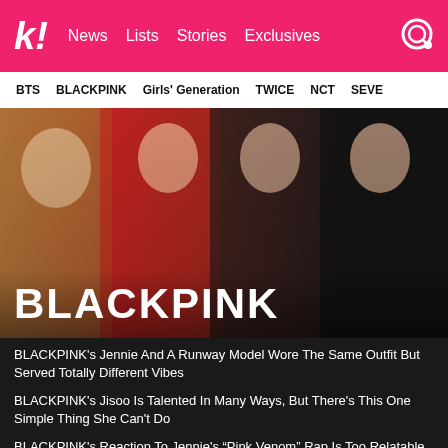k! News Lists Stories Exclusives
BTS BLACKPINK Girls' Generation TWICE NCT SEVE
[Figure (photo): BLACKPINK group photo showing four members posing. Text overlay reads BLACKPINK in white bold letters at bottom left.]
BLACKPINK's Jennie And A Runway Model Wore The Same Outfit But Served Totally Different Vibes
BLACKPINK's Jisoo Is Talented In Many Ways, But There's This One Simple Thing She Can't Do
BLACKPINK's Reaction To Jennie's “Pink Venom” Rap Is Too Relatable